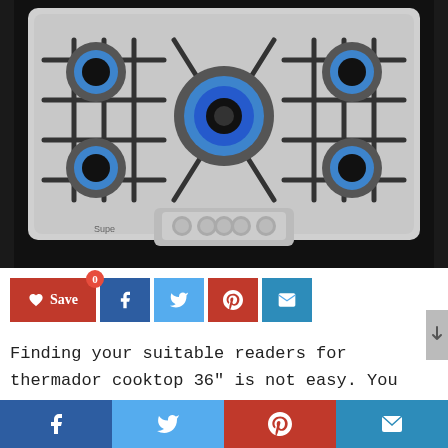[Figure (photo): Stainless steel gas cooktop with 5 burners lit with blue flames, showing grates and control knobs at the front center]
[Figure (infographic): Social share buttons row: heart Save button (red), Facebook (dark blue), Twitter (light blue), Pinterest (red), Email (blue)]
Finding your suitable readers for thermador cooktop 36″ is not easy. You may need consider between hundred or thousand products from many store. In this article, we make a short list of the best readers for
[Figure (infographic): Bottom social share bar: Facebook (dark blue), Twitter (light blue), Pinterest (red), Email (blue)]